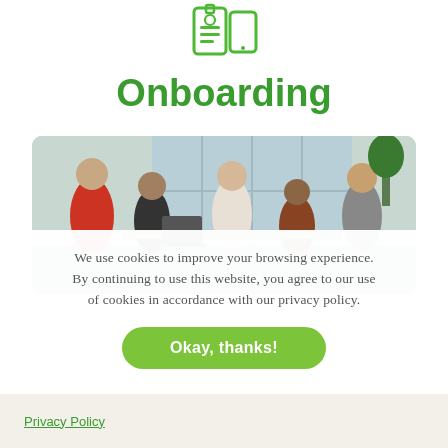[Figure (illustration): Green icon showing ID badge and mobile device]
Onboarding
[Figure (photo): Office meeting photo showing multiple people gathered around a table in a bright open workspace]
We use cookies to improve your browsing experience. By continuing to use this website, you agree to our use of cookies in accordance with our privacy policy.
Okay, thanks!
Privacy Policy